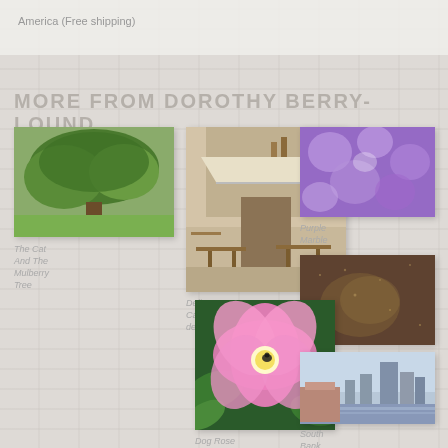America (Free shipping)
MORE FROM DOROTHY BERRY-LOUND
[Figure (photo): Photo of a large tree with green foliage in a field]
The Cat And The Mulberry Tree
[Figure (photo): Photo of a delicatessen shop front in Castiglione del Lago with outdoor furniture]
Delicatessens Castiglione del Lago
[Figure (photo): Abstract purple marble texture photo]
Purple Marble
[Figure (photo): Abstract dark golden/brown textured photo resembling violet clouds]
Violet Clouds
[Figure (photo): Close-up photo of a pink dog rose flower with a beetle]
Dog Rose With Beetle
[Figure (photo): Photo of South Bank River Thames with city buildings]
South Bank River Thames